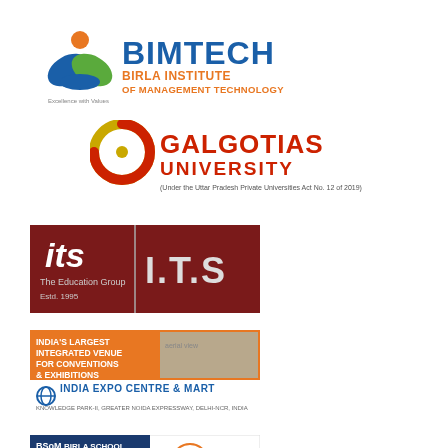[Figure (logo): BIMTECH Birla Institute of Management Technology logo with blue-green leaf/book icon and orange circle on top, text BIMTECH in blue and BIRLA INSTITUTE OF MANAGEMENT TECHNOLOGY in orange, tagline Excellence with Values]
[Figure (logo): Galgotias University logo with circular gold/red swirl icon and red text GALGOTIAS UNIVERSITY, subtitle Under the Uttar Pradesh Private Universities Act No. 12 of 2019]
[Figure (logo): ITS The Education Group logo on dark red background with stylized ITS logo and I.T.S text, Estd. 1995]
[Figure (logo): India Expo Centre and Mart advertisement banner - India's Largest Integrated Venue for Conventions & Exhibitions, Knowledge Park-II, Greater Noida Expressway, Delhi-NCR, India]
[Figure (logo): BSoM Birla School of Management advertisement with Ph.D., MBA, BBA (Hons.) programs and BGU Birla Global University Bhubaneswar logo]